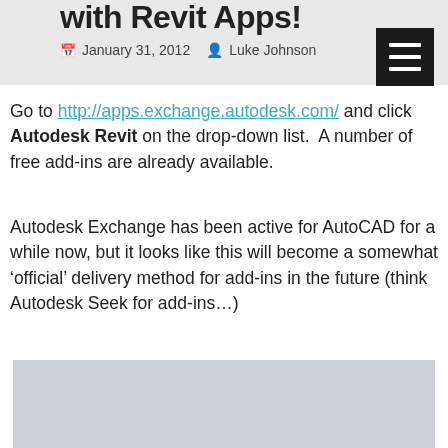with Revit Apps!
January 31, 2012   Luke Johnson
Go to http://apps.exchange.autodesk.com/ and click Autodesk Revit on the drop-down list.  A number of free add-ins are already available.
Autodesk Exchange has been active for AutoCAD for a while now, but it looks like this will become a somewhat ‘official’ delivery method for add-ins in the future (think Autodesk Seek for add-ins…)
[Figure (screenshot): Screenshot placeholder image with grey background and logo watermark in bottom right corner]